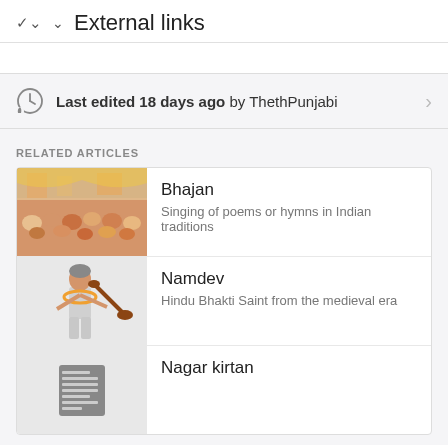External links
Last edited 18 days ago by ThethPunjabi
RELATED ARTICLES
Bhajan
Singing of poems or hymns in Indian traditions
Namdev
Hindu Bhakti Saint from the medieval era
Nagar kirtan